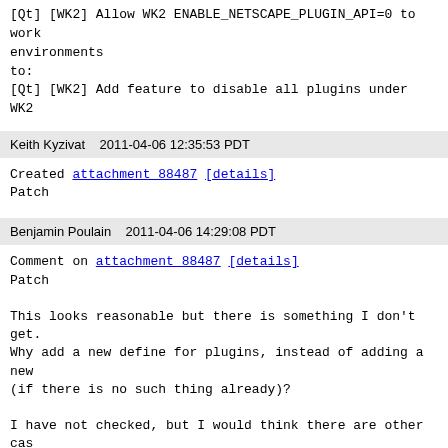[Qt] [WK2] Allow WK2 ENABLE_NETSCAPE_PLUGIN_API=0 to work environments
to:
[Qt] [WK2] Add feature to disable all plugins under WK2
Keith Kyzivat   2011-04-06 12:35:53 PDT
Created attachment 88487 [details]
Patch
Benjamin Poulain   2011-04-06 14:29:08 PDT
Comment on attachment 88487 [details]
Patch

This looks reasonable but there is something I don't get.
Why add a new define for plugins, instead of adding a new
(if there is no such thing already)?

I have not checked, but I would think there are other cas
!X11. Or is X11 really used by WebCore only for plugins?
window surface sharing is another area where such cases h

I would think (Linux && !X11) has other applications we c
other ports like Android.
Keith Kyzivat   2011-04-06 15:21:19 PDT